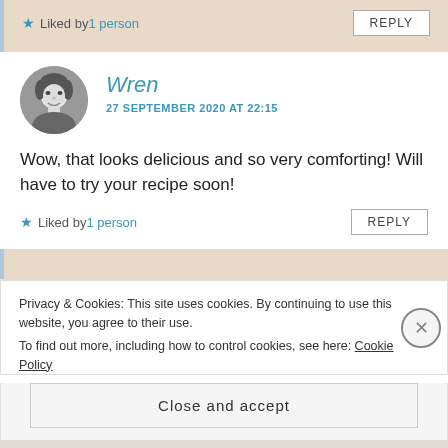★ Liked by 1 person
REPLY
Wren
27 SEPTEMBER 2020 AT 22:15
Wow, that looks delicious and so very comforting! Will have to try your recipe soon!
★ Liked by 1 person
REPLY
Privacy & Cookies: This site uses cookies. By continuing to use this website, you agree to their use.
To find out more, including how to control cookies, see here: Cookie Policy
Close and accept